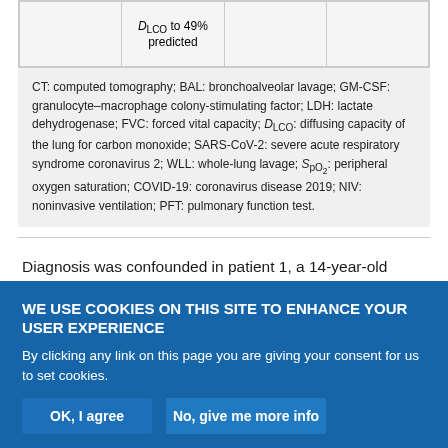|  |  |  |  |
| --- | --- | --- | --- |
|  | D<sub>LCO</sub> to 49% predicted |  |  |
CT: computed tomography; BAL: bronchoalveolar lavage; GM-CSF: granulocyte–macrophage colony-stimulating factor; LDH: lactate dehydrogenase; FVC: forced vital capacity; DLCO: diffusing capacity of the lung for carbon monoxide; SARS-CoV-2: severe acute respiratory syndrome coronavirus 2; WLL: whole-lung lavage; SpO2: peripheral oxygen saturation; COVID-19: coronavirus disease 2019; NIV: noninvasive ventilation; PFT: pulmonary function test.
Diagnosis was confounded in patient 1, a 14-year-old female adolescent, who came to the emergency department with the potential diagnosis of COVID-19, due to a 2-day history of
WE USE COOKIES ON THIS SITE TO ENHANCE YOUR USER EXPERIENCE
By clicking any link on this page you are giving your consent for us to set cookies.